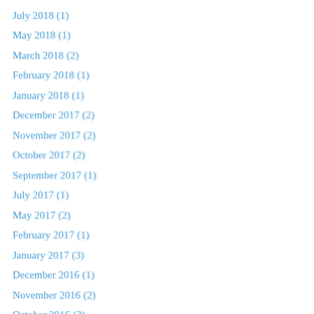July 2018 (1)
May 2018 (1)
March 2018 (2)
February 2018 (1)
January 2018 (1)
December 2017 (2)
November 2017 (2)
October 2017 (2)
September 2017 (1)
July 2017 (1)
May 2017 (2)
February 2017 (1)
January 2017 (3)
December 2016 (1)
November 2016 (2)
October 2016 (2)
September 2016 (1)
August 2016 (5)
July 2016 (2)
June 2016 (2)